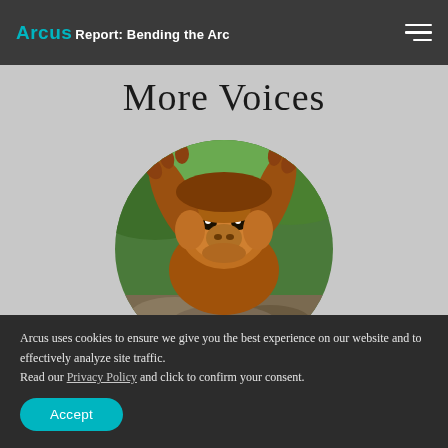Arcus Report: Bending the Arc
More Voices
[Figure (photo): Circular cropped photograph of a young orangutan looking upside down at the camera, surrounded by green foliage.]
Arcus uses cookies to ensure we give you the best experience on our website and to effectively analyze site traffic.
Read our Privacy Policy and click to confirm your consent.
Accept